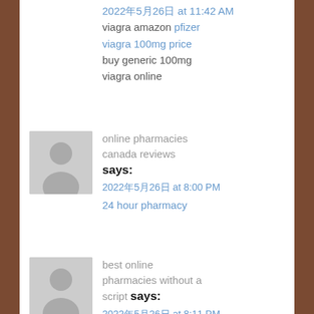2022年5月26日 at 11:42 AM
viagra amazon pfizer viagra 100mg price buy generic 100mg viagra online
online pharmacies canada reviews says:
2022年5月26日 at 8:00 PM
24 hour pharmacy
best online pharmacies without a script says:
2022年5月26日 at 8:11 PM